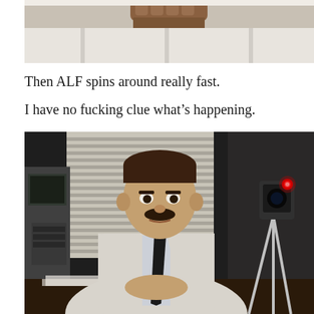[Figure (photo): Top portion of a photo showing what appears to be a hand or fist holding something against a light background with architectural elements]
Then ALF spins around really fast.
I have no fucking clue what's happening.
[Figure (photo): A man with a mustache wearing a white lab coat and dark tie sits at a desk with hands clasped. Behind him are venetian blinds and old electronic equipment. To the right is a camera on a tripod with a red light.]